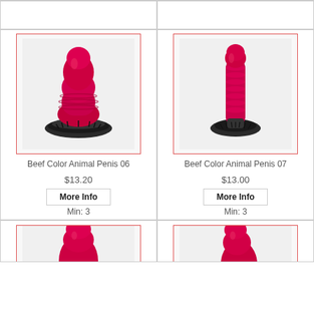[Figure (photo): Top-left empty product cell (partial, cropped at top)]
[Figure (photo): Top-right empty product cell (partial, cropped at top)]
[Figure (photo): Red animal-shaped adult toy product image for Beef Color Animal Penis 06, on black base]
Beef Color Animal Penis 06
$13.20
More Info
Min:  3
[Figure (photo): Red animal-shaped adult toy product image for Beef Color Animal Penis 07, on black base]
Beef Color Animal Penis 07
$13.00
More Info
Min:  3
[Figure (photo): Partial view of red adult toy, bottom row left, cropped]
[Figure (photo): Partial view of red adult toy, bottom row right, cropped]